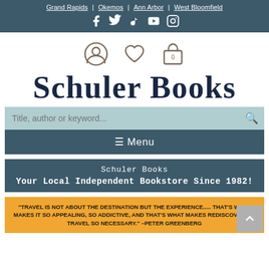Grand Rapids | Okemos | Ann Arbor | West Bloomfield
[Figure (other): Social media icons: Facebook, Twitter, TikTok, YouTube, Instagram]
[Figure (other): User account icon, heart/wishlist icon, and shopping bag icon with 0 badge]
SCHULER BOOKS
Title, author or keyword...
☰ Menu
Schuler Books
Your Local Independent Bookstore Since 1982!
"TRAVEL IS NOT ABOUT THE DESTINATION BUT THE EXPERIENCE..... THAT'S WHAT MAKES IT SO APPEALING, SO ADDICTIVE, AND THAT'S WHAT MAKES REDISCOVERING TRAVEL SO NECESSARY." –PETER GREENBERG